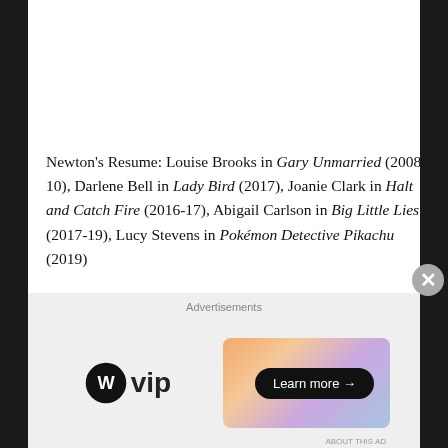Newton's Resume: Louise Brooks in Gary Unmarried (2008-10), Darlene Bell in Lady Bird (2017), Joanie Clark in Halt and Catch Fire (2016-17), Abigail Carlson in Big Little Lies (2017-19), Lucy Stevens in Pokémon Detective Pikachu (2019)
Read More at VV — Know the Cast & Characters: 'Heartsong'
Freaky Cast: Celeste O'Connor as Nyla Chones
[Figure (other): Advertisement bar at bottom of page showing WordPress VIP logo and a gradient advertisement with 'Learn more' button]